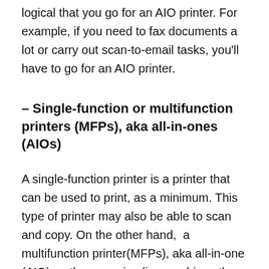logical that you go for an AIO printer. For example, if you need to fax documents a lot or carry out scan-to-email tasks, you'll have to go for an AIO printer.
– Single-function or multifunction printers (MFPs), aka all-in-ones (AIOs)
A single-function printer is a printer that can be used to print, as a minimum. This type of printer may also be able to scan and copy. On the other hand,  a multifunction printer(MFPs), aka all-in-one (AIO) as the name implies combines the ability to print, scan, copy, and most especially, fax, in one machine.
– Laser Printer Output Speed